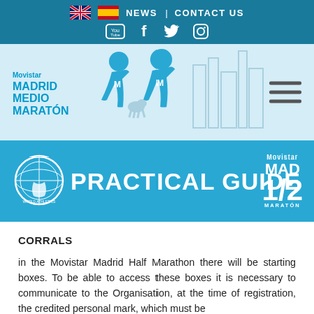NEWS | CONTACT US — social icons (YouTube, Facebook, Twitter, Instagram)
[Figure (logo): Movistar Madrid Medio Maratón logo with runner silhouettes illustration and skyline]
PRACTICAL GUIDE
[Figure (logo): Movistar MAD 1/2 MARATÓN logo badge]
CORRALS
in the Movistar Madrid Half Marathon there will be starting boxes. To be able to access these boxes it is necessary to communicate to the Organisation, at the time of registration, the credited personal mark, which must be